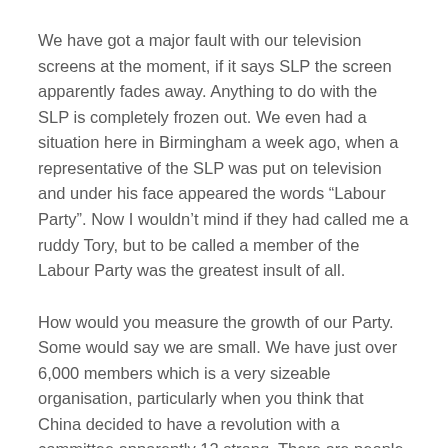We have got a major fault with our television screens at the moment, if it says SLP the screen apparently fades away. Anything to do with the SLP is completely frozen out. We even had a situation here in Birmingham a week ago, when a representative of the SLP was put on television and under his face appeared the words “Labour Party”. Now I wouldn’t mind if they had called me a ruddy Tory, but to be called a member of the Labour Party was the greatest insult of all.
How would you measure the growth of our Party. Some would say we are small. We have just over 6,000 members which is a very sizeable organisation, particularly when you think that China decided to have a revolution with a committee apparently 12 strong. There are people from different traditions, from the old Communist Party, from the Labour Party and so on, who